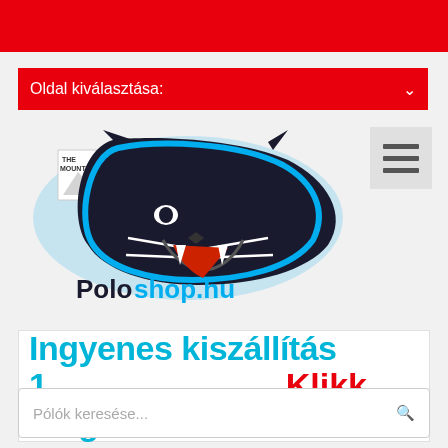[Figure (other): Red top navigation banner bar]
Oldal kiválasztása:
[Figure (logo): Poloshop.hu logo with The Mountain brand and Carolina Panthers NFL team panther graphic]
[Figure (other): Hamburger menu icon (three horizontal lines)]
Ingyenes kiszállítás 1 megosztásért! Klikk ide
Pólók keresése...